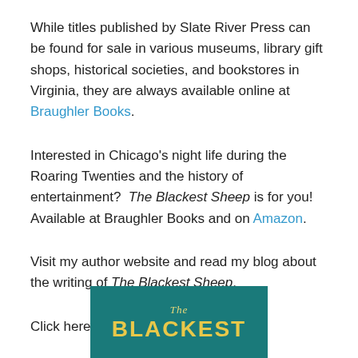While titles published by Slate River Press can be found for sale in various museums, library gift shops, historical societies, and bookstores in Virginia, they are always available online at Braughler Books.
Interested in Chicago's night life during the Roaring Twenties and the history of entertainment?  The Blackest Sheep is for you!  Available at Braughler Books and on Amazon.
Visit my author website and read my blog about the writing of The Blackest Sheep.
Click here: Joanne L. Yeck.
[Figure (photo): Book cover of 'The Blackest Sheep' showing teal/dark green background with stylized text 'The' in italic script and 'BLACKEST' in large bold yellow letters]